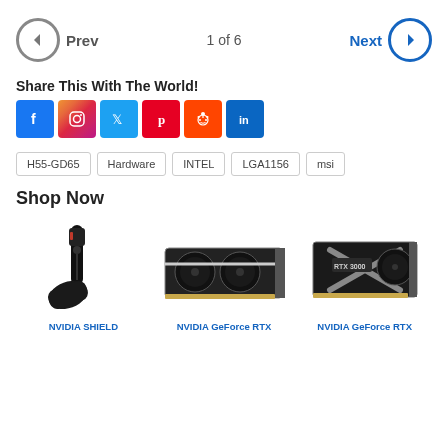Prev   1 of 6   Next
Share This With The World!
[Figure (infographic): Social share icons: Facebook, Instagram, Twitter, Pinterest, Reddit, LinkedIn]
H55-GD65
Hardware
INTEL
LGA1156
msi
Shop Now
[Figure (photo): NVIDIA SHIELD device with remote]
[Figure (photo): NVIDIA GeForce RTX graphics card (dual fan)]
[Figure (photo): NVIDIA GeForce RTX 3000 graphics card (Founders Edition)]
NVIDIA SHIELD
NVIDIA GeForce RTX
NVIDIA GeForce RTX